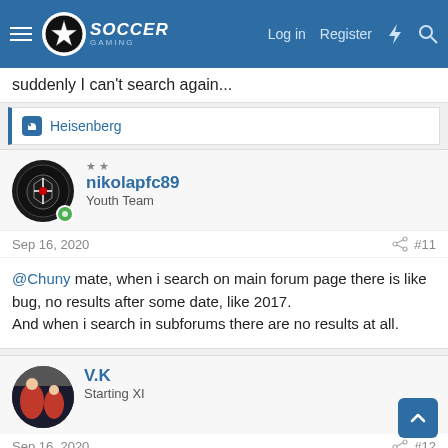Soccer Gaming — Log in | Register
suddenly I can't search again...
👍 Heisenberg
★★ nikolapfc89
Youth Team
Sep 16, 2020  #11
@Chuny mate, when i search on main forum page there is like bug, no results after some date, like 2017.
And when i search in subforums there are no results at all.
V.K
Starting XI
Sep 16, 2020  #12
Yeah it seems like the search function doesn't go any further